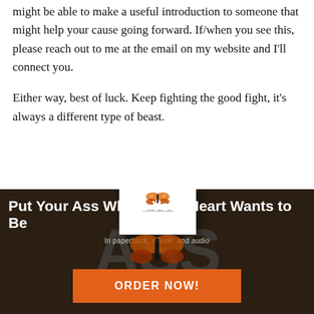might be able to make a useful introduction to someone that might help your cause going forward. If/when you see this, please reach out to me at the email on my website and I'll connect you.
Either way, best of luck. Keep fighting the good fight, it's always a different type of beast.
[Figure (photo): Dark background advertisement section with large bold letters 'ASS (whereyourHEARTwantstobe)' visible. Overlaid book popup showing 'PUT YOUR ASS (whereyourHEARTwantstobe)' book cover with butterfly, and a close button. Below: white bold title 'Put Your Ass Where Your Heart Wants to Be', subtitle 'In paperback, eBook, and audio', and an orange ORDER NOW! button.]